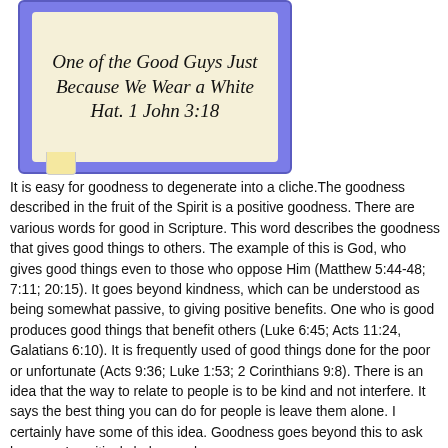[Figure (illustration): A book illustration with a purple/blue border and cream/parchment colored page, showing cursive italic text: 'One of the Good Guys Just Because We Wear a White Hat. 1 John 3:18'. A small bookmark tab is visible at the bottom left.]
It is easy for goodness to degenerate into a cliche.The goodness described in the fruit of the Spirit is a positive goodness. There are various words for good in Scripture. This word describes the goodness that gives good things to others. The example of this is God, who gives good things even to those who oppose Him (Matthew 5:44-48; 7:11; 20:15). It goes beyond kindness, which can be understood as being somewhat passive, to giving positive benefits. One who is good produces good things that benefit others (Luke 6:45; Acts 11:24, Galatians 6:10). It is frequently used of good things done for the poor or unfortunate (Acts 9:36; Luke 1:53; 2 Corinthians 9:8). There is an idea that the way to relate to people is to be kind and not interfere. It says the best thing you can do for people is leave them alone. I certainly have some of this idea. Goodness goes beyond this to ask how can I positively help people.